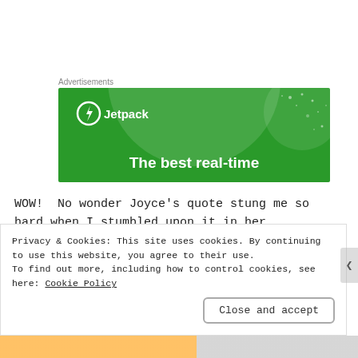Advertisements
[Figure (illustration): Jetpack advertisement banner with green background, large white circle overlay, white dot stars pattern, Jetpack logo top-left, and bold white text 'The best real-time' at the bottom.]
WOW! No wonder Joyce’s quote stung me so hard when I stumbled upon it in her
Privacy & Cookies: This site uses cookies. By continuing to use this website, you agree to their use.
To find out more, including how to control cookies, see here: Cookie Policy
Close and accept